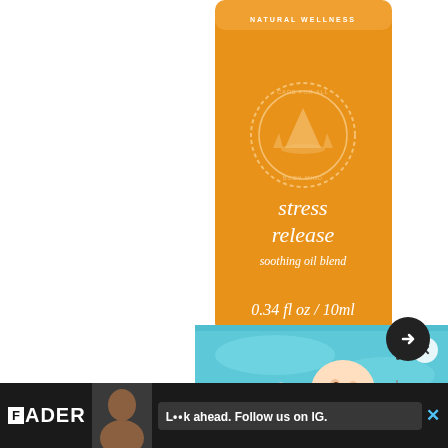[Figure (photo): Orange product bottle for 'stress release soothing oil blend' by Saje Natural Wellness, showing 0.34 fl oz / 10ml, with a decorative circular seal logo. Cropped to show upper portion of bottle.]
[Figure (screenshot): Screenshot overlay showing Nirvana Nevermind album cover image (baby swimming underwater reaching for dollar bill on a hook), with FADER branding, close button X, three-dot menu, and a dark circular arrow/next button.]
Nevermind baby sees Nirvana child pornography
saje.com
[Figure (screenshot): FADER advertisement banner at bottom showing FADER logo, a photo, and the text 'L••k ahead. Follow us on IG.' with an X close button.]